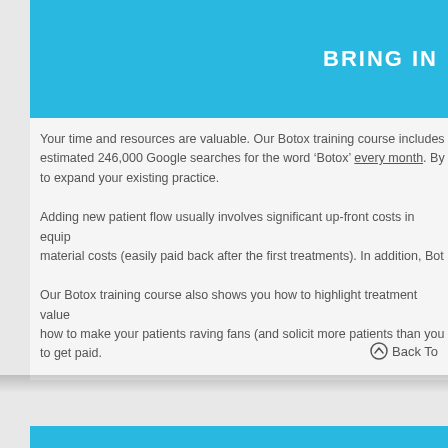BRING IN
Your time and resources are valuable. Our Botox training course includes estimated 246,000 Google searches for the word ‘Botox’ every month. By to expand your existing practice.
Adding new patient flow usually involves significant up-front costs in equip material costs (easily paid back after the first treatments). In addition, Bot
Our Botox training course also shows you how to highlight treatment value how to make your patients raving fans (and solicit more patients than you to get paid.
Back To